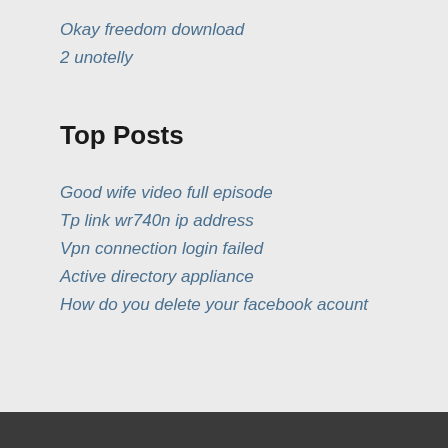Okay freedom download
2 unotelly
Top Posts
Good wife video full episode
Tp link wr740n ip address
Vpn connection login failed
Active directory appliance
How do you delete your facebook acount